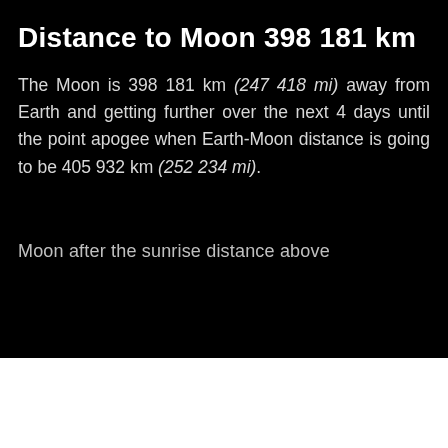Distance to Moon 398 181 km
The Moon is 398 181 km (247 418 mi) away from Earth and getting further over the next 4 days until the point apogee when Earth-Moon distance is going to be 405 932 km (252 234 mi).